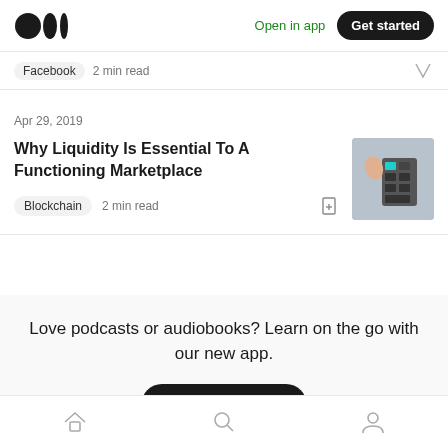Medium logo | Open in app | Get started
Facebook  2 min read
Apr 29, 2019
Why Liquidity Is Essential To A Functioning Marketplace
Blockchain  2 min read
[Figure (photo): Hand pressing buttons on a device/remote control]
Love podcasts or audiobooks? Learn on the go with our new app.
Try Knowable
Home | Search | Profile